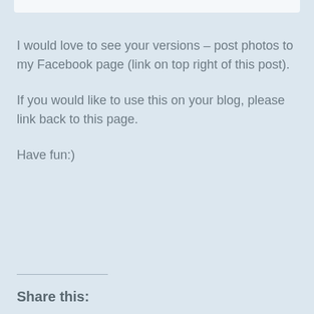I would love to see your versions – post photos to my Facebook page (link on top right of this post).
If you would like to use this on your blog, please link back to this page.
Have fun:)
Share this: